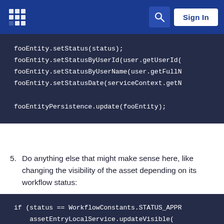Sign In
[Figure (screenshot): Navigation bar with logo, search button, and Sign In button on dark blue background]
fooEntity.setStatus(status);
fooEntity.setStatusByUserId(user.getUserId(
fooEntity.setStatusByUserName(user.getFullM
fooEntity.setStatusDate(serviceContext.getN

fooEntityPersistence.update(fooEntity);
5. Do anything else that might make sense here, like changing the visibility of the asset depending on its workflow status:
if (status == WorkflowConstants.STATUS_APPR
    assetEntryLocalService.updateVisible(
        FooEntity.class.getName(), fooEntit
}